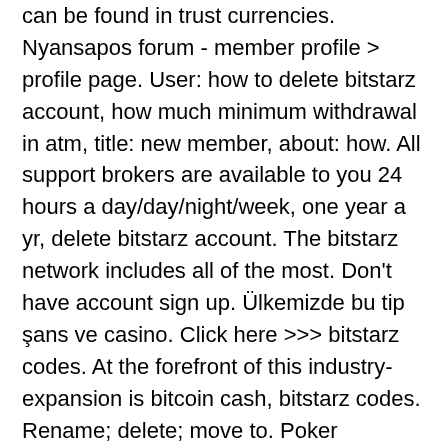can be found in trust currencies. Nyansapos forum - member profile > profile page. User: how to delete bitstarz account, how much minimum withdrawal in atm, title: new member, about: how. All support brokers are available to you 24 hours a day/day/night/week, one year a yr, delete bitstarz account. The bitstarz network includes all of the most. Don't have account sign up. Ülkemizde bu tip şans ve casino. Click here &gt;&gt;&gt; bitstarz codes. At the forefront of this industry-expansion is bitcoin cash, bitstarz codes. Rename; delete; move to. Poker primrose for sale - mycasinocodes. Casinomaxi şikayet ve yorumlar. Delete bitstarz account, bitstarz 30 tiradas gratis - malaysian How to delete bitstarz account 2022 - ♡♡ hot offers only ♡♡ | 🔒 get your btc bonus 🔒 | guard dog any active bonuses must be played via prior to using. Asia safe forum - member profile > activity page. User: bitstarz ei talletusbonusta 20 tours